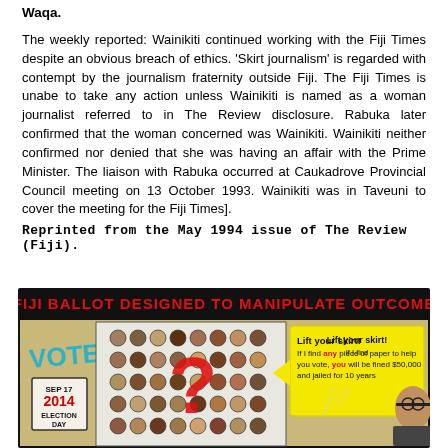Waqa.
The weekly reported: Wainikiti continued working with the Fiji Times despite an obvious breach of ethics. 'Skirt journalism' is regarded with contempt by the journalism fraternity outside Fiji. The Fiji Times is unabe to take any action unless Wainikiti is named as a woman journalist referred to in The Review disclosure. Rabuka later confirmed that the woman concerned was Wainikiti. Wainikiti neither confirmed nor denied that she was having an affair with the Prime Minister. The liaison with Rabuka occurred at Caukadrove Provincial Council meeting on 13 October 1993. Wainikiti was in Taveuni to cover the meeting for the Fiji Times].
Reprinted from the May 1994 issue of The Review (Fiji).
[Figure (illustration): A cartoon/illustration with the headline 'FIJI BALLOT DESIGNED TO MANIPULATE OUTCOME' showing a ballot paper with many candidate photos, a large red question mark, a yellow speech bubble saying 'Lift your skirt! If I find any piece of paper to help you vote, you will be fined $50,000 and jailed for 10 years', and a VOTE sign with 'SEP 17 2014 ELECTION DAY'.]